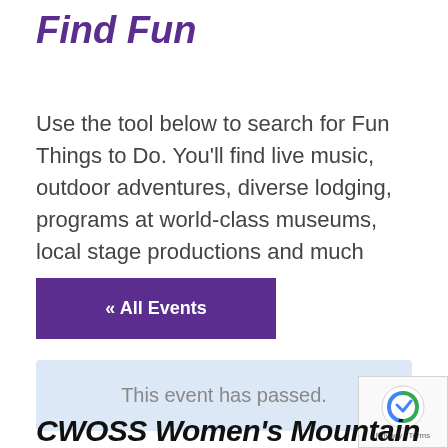Find Fun
Use the tool below to search for Fun Things to Do. You'll find live music, outdoor adventures, diverse lodging, programs at world-class museums, local stage productions and much more.
« All Events
This event has passed.
CWOSS Women's Mountain